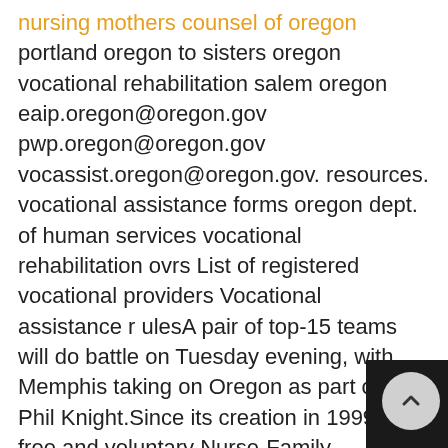nursing mothers counsel of oregon portland oregon to sisters oregon vocational rehabilitation salem oregon eaip.oregon@oregon.gov pwp.oregon@oregon.gov vocassist.oregon@oregon.gov. resources. vocational assistance forms oregon dept. of human services vocational rehabilitation ovrs List of registered vocational providers Vocational assistance r ulesA pair of top-15 teams will do battle on Tuesday evening, with Memphis taking on Oregon as part of the Phil Knight.Since its creation in 1999, the free and voluntary Nurse-Family Partnership has served 4,971 families over nine counties in.oregon dmv holiday hours oregon dmv vin inspection Vehicle inspection fees and late